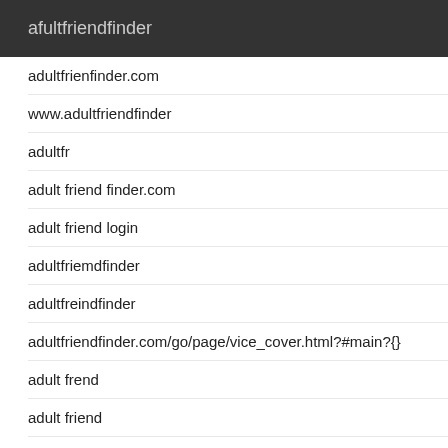afultfriendfinder
adultfrienfinder.com
www.adultfriendfinder
adultfr
adult friend finder.com
adult friend login
adultfriemdfinder
adultfreindfinder
adultfriendfinder.com/go/page/vice_cover.html?#main?{}
adult frend
adult friend
adult friend